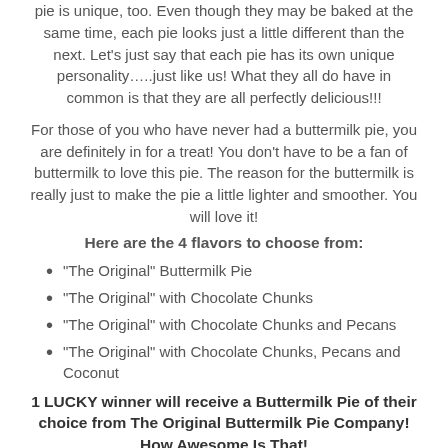pie is unique, too. Even though they may be baked at the same time, each pie looks just a little different than the next. Let’s just say that each pie has its own unique personality…..just like us! What they all do have in common is that they are all perfectly delicious!!!
For those of you who have never had a buttermilk pie, you are definitely in for a treat! You don’t have to be a fan of buttermilk to love this pie. The reason for the buttermilk is really just to make the pie a little lighter and smoother. You will love it!
Here are the 4 flavors to choose from:
"The Original" Buttermilk Pie
"The Original" with Chocolate Chunks
"The Original" with Chocolate Chunks and Pecans
"The Original" with Chocolate Chunks, Pecans and Coconut
1 LUCKY winner will receive a Buttermilk Pie of their choice from The Original Buttermilk Pie Company! How Awesome Is That!